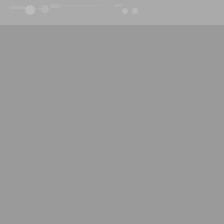[Figure (screenshot): Gray banner / header area with circuit board pattern at top of page]
Home › Competition › Rules
Rules
Competition rules
Overview of changes
Here is an overview of the major changes
On each competition day contestants will have detailed feedback enable
Reactive tasks interact with standa
Computers used for the evaluatio
Programming language is autom
Home
Thank-You Letters
About IOI
Regulations
Committees
Members
History
The First IOI
The 21st IOI
Who is who
Honorary Patron
Organizers